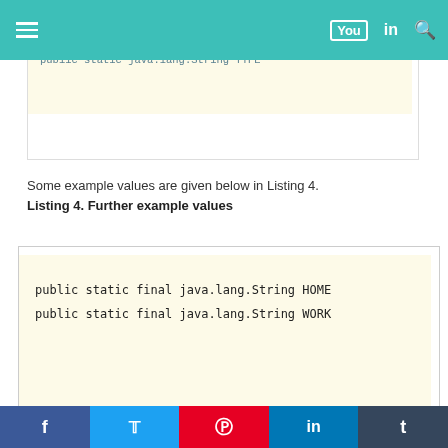Navigation bar with hamburger menu, YouTube, LinkedIn, and Search icons
[Figure (screenshot): Partial code block showing: public static java.lang.String TYPE on a light yellow background]
Some example values are given below in Listing 4.
Listing 4. Further example values
[Figure (screenshot): Code block showing: public static final java.lang.String HOME
public static final java.lang.String WORK]
The values...TYPE...are some example values for the...
Social share bar: Facebook, Twitter, Pinterest, LinkedIn, Tumblr